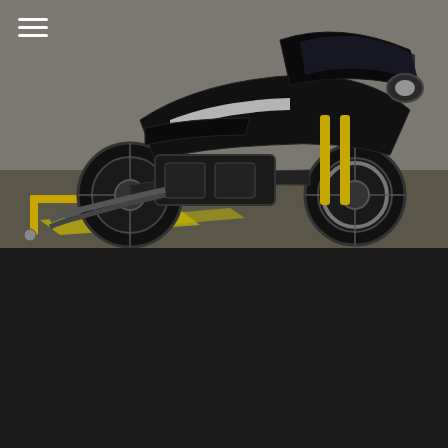[Figure (photo): Black custom motorcycle (Dark Knight themed) photographed on a concrete surface with a paddock stand, showing aggressive cafe racer style with black bodywork and gold forks]
Avant grande ‘ Dark Knight ’ by Singular Rides
● Chistopher Bridges   ⏰ November 7, 2020
Folks at Singular Rides know their game very well. Whether its the MotoGP inspired lime-yellow ‘ Ducati 907 ’ or naked ‘ Ducati cafe superlight.’ But we are more interested in there latest Gotham Hero ‘ Dark Knight ’ inspired custom